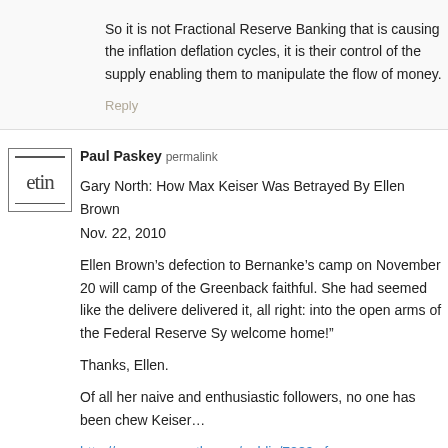So it is not Fractional Reserve Banking that is causing the inflation deflation cycles, it is their control of the supply enabling them to manipulate the flow of money.
Reply
Paul Paskey permalink
Gary North: How Max Keiser Was Betrayed By Ellen Brown Nov. 22, 2010
Ellen Brown’s defection to Bernanke’s camp on November 20 will camp of the Greenback faithful. She had seemed like the delivere delivered it, all right: into the open arms of the Federal Reserve Sy welcome home!”
Thanks, Ellen.
Of all her naive and enthusiastic followers, no one has been chew Keiser…
http://www.garynorth.com/public/7289.cfm